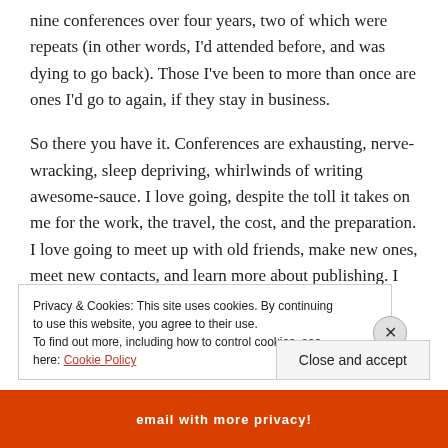nine conferences over four years, two of which were repeats (in other words, I'd attended before, and was dying to go back). Those I've been to more than once are ones I'd go to again, if they stay in business.
So there you have it. Conferences are exhausting, nerve-wracking, sleep depriving, whirlwinds of writing awesome-sauce. I love going, despite the toll it takes on me for the work, the travel, the cost, and the preparation. I love going to meet up with old friends, make new ones, meet new contacts, and learn more about publishing. I probably look for different things in a
Privacy & Cookies: This site uses cookies. By continuing to use this website, you agree to their use.
To find out more, including how to control cookies, see here: Cookie Policy
Close and accept
[Figure (photo): Orange/red colored advertisement banner at the bottom of the page with white text partially visible]